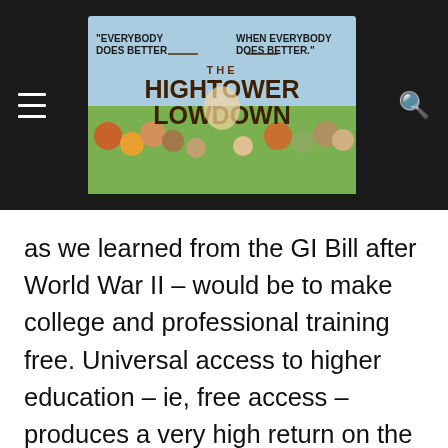[Figure (logo): The Hightower Lowdown website header banner with logo, hamburger menu icon, and search icon on dark background. Logo shows cartoon illustration with quotes 'Everybody Does Better When Everybody Does Better' and bold text 'THE HIGHTOWER LOWDOWN'.]
as we learned from the GI Bill after World War II – would be to make college and professional training free. Universal access to higher education – ie, free access – produces a very high return on the public's investment, while also producing widely-shared prosperity and a broadly educated citizenry.